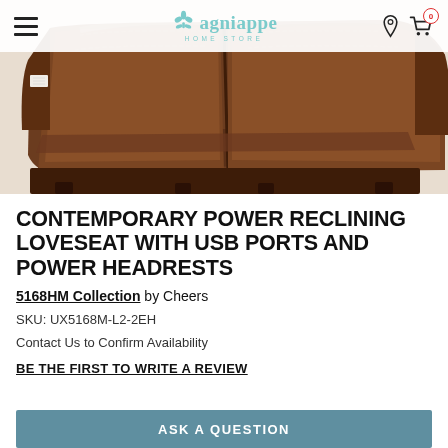Lagniappe Home Store
[Figure (photo): Brown leather power reclining loveseat shown from a front-side angle, displaying the seat cushions, back cushions, and footrests. The leather has a rich dark brown color with subtle stitching details.]
CONTEMPORARY POWER RECLINING LOVESEAT WITH USB PORTS AND POWER HEADRESTS
5168HM Collection by Cheers
SKU: UX5168M-L2-2EH
Contact Us to Confirm Availability
BE THE FIRST TO WRITE A REVIEW
ASK A QUESTION